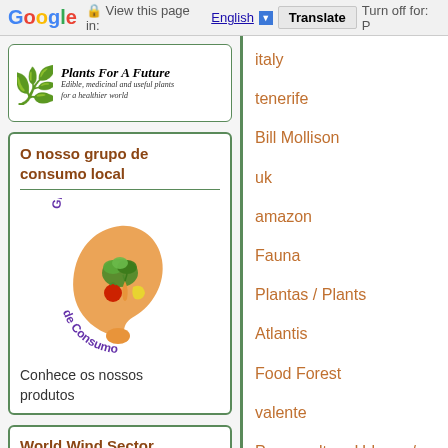Google | View this page in: English [▼] Translate Turn off for: P
[Figure (logo): Plants For A Future logo with tree icon and italic text 'Plants For A Future - Edible, medicinal and useful plants for a healthier world']
O nosso grupo de consumo local
[Figure (logo): Grupo Autogestionado de Consumo circular logo with vegetables in the center and purple/orange text around the circle]
Conhece os nossos produtos
World Wind Sector
italy
tenerife
Bill Mollison
uk
amazon
Fauna
Plantas / Plants
Atlantis
Food Forest
valente
Permacultura Urbana / Urban P